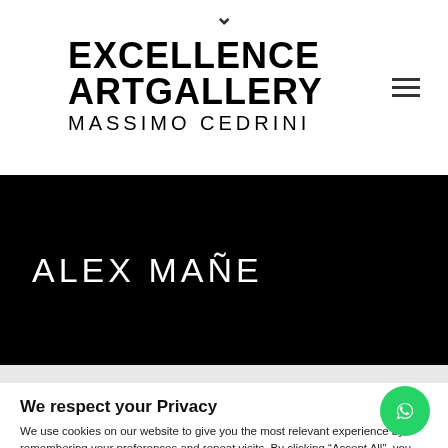[Figure (logo): Excellence ArtGallery Massimo Cedrini logo with chevron dropdown indicator and hamburger menu icon]
ALEX MAÑE
We respect your Privacy
We use cookies on our website to give you the most relevant experience by remembering your preferences and repeat visits. By clicking "Accept All", you consent to the use of ALL the cookies. However, you may visit "Cookie Settings" to provide a controlled consent.